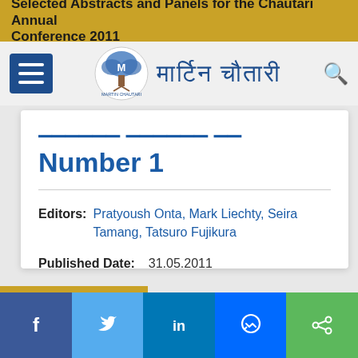Selected Abstracts and Panels for the Chautari Annual Conference 2011
[Figure (logo): Martin Chautari logo with tree graphic and Devanagari text]
Number 1
Editors: Pratyoush Onta, Mark Liechty, Seira Tamang, Tatsuro Fujikura
Published Date: 31.05.2011
ISSN: 1025-5109